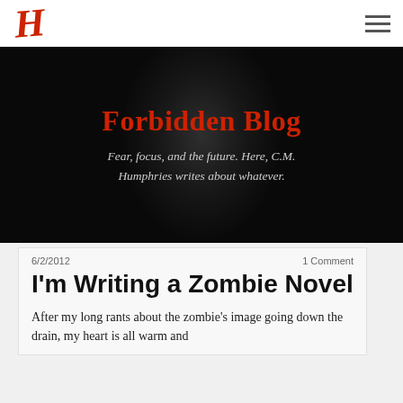H [logo] | hamburger menu
[Figure (photo): Black and white photo of a man with finger to lips in a 'shh' gesture, used as hero background image]
Forbidden Blog
Fear, focus, and the future. Here, C.M. Humphries writes about whatever.
6/2/2012    1 Comment
I'm Writing a Zombie Novel
After my long rants about the zombie's image going down the drain, my heart is all warm and